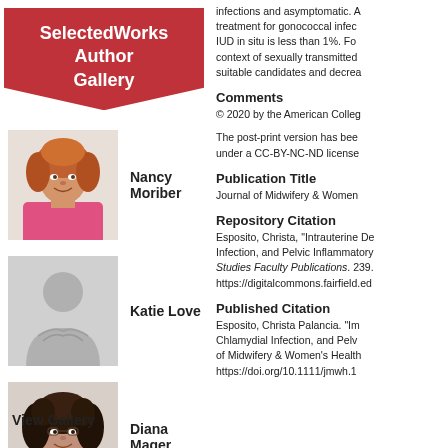SelectedWorks Author Gallery
Nancy Moriber
Katie Love
Diana Mager
View Gallery
infections and asymptomatic. A treatment for gonococcal infec IUD in situ is less than 1%. Fo context of sexually transmitted suitable candidates and decrea
Comments
© 2020 by the American Colleg
The post-print version has bee under a CC-BY-NC-ND license
Publication Title
Journal of Midwifery & Women
Repository Citation
Esposito, Christa, "Intrauterine De Infection, and Pelvic Inflammatory Studies Faculty Publications. 239. https://digitalcommons.fairfield.ed
Published Citation
Esposito, Christa Palancia. "Im Chlamydial Infection, and Pelv of Midwifery & Women's Health https://doi.org/10.1111/jmwh.1